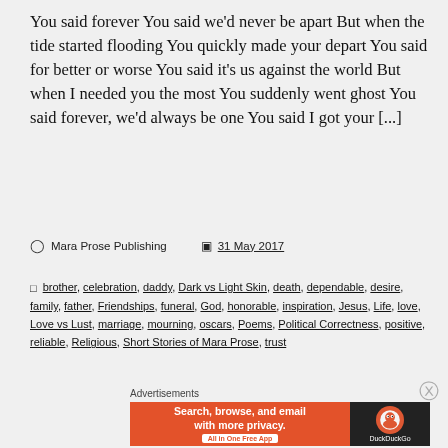You said forever You said we'd never be apart But when the tide started flooding You quickly made your depart You said for better or worse You said it's us against the world But when I needed you the most You suddenly went ghost You said forever, we'd always be one You said I got your [...]
Mara Prose Publishing   31 May 2017
brother, celebration, daddy, Dark vs Light Skin, death, dependable, desire, family, father, Friendships, funeral, God, honorable, inspiration, Jesus, Life, love, Love vs Lust, marriage, mourning, oscars, Poems, Political Correctness, positive, reliable, Religious, Short Stories of Mara Prose, trust
Advertisements
[Figure (other): DuckDuckGo advertisement banner: 'Search, browse, and email with more privacy. All in One Free App' with DuckDuckGo logo on dark background]